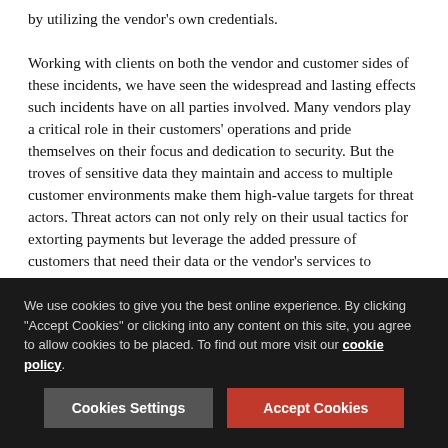by utilizing the vendor's own credentials. Working with clients on both the vendor and customer sides of these incidents, we have seen the widespread and lasting effects such incidents have on all parties involved. Many vendors play a critical role in their customers' operations and pride themselves on their focus and dedication to security. But the troves of sensitive data they maintain and access to multiple customer environments make them high-value targets for threat actors. Threat actors can not only rely on their usual tactics for extorting payments but leverage the added pressure of customers that need their data or the vendor's services to maintain normal business operations. Even in cases where the incident may not be evident to a vendor's customers, we have seen threat actors contact customers directly in an attempt to strong-arm the vendor into paying the ransom. The magnitude of vendor incidents often garners increased public attention
We use cookies to give you the best online experience. By clicking "Accept Cookies" or clicking into any content on this site, you agree to allow cookies to be placed. To find out more visit our cookie policy.